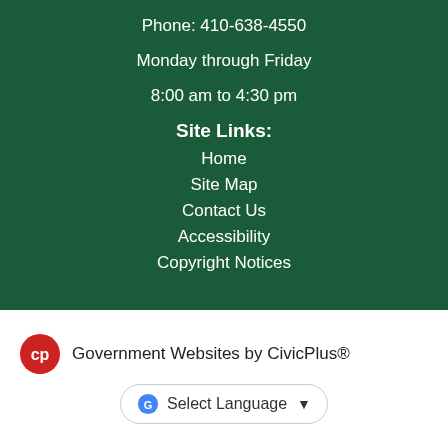Phone: 410-638-4550
Monday through Friday
8:00 am to 4:30 pm
Site Links:
Home
Site Map
Contact Us
Accessibility
Copyright Notices
Government Websites by CivicPlus®
Select Language